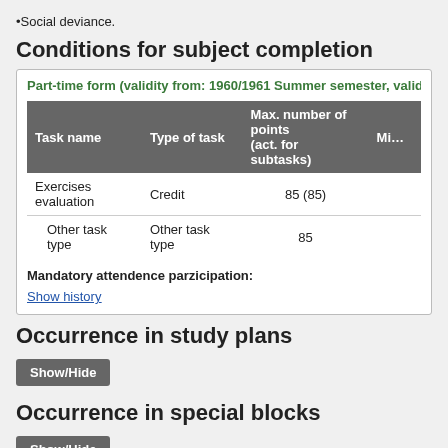•Social deviance.
Conditions for subject completion
Part-time form (validity from: 1960/1961 Summer semester, validity u...
| Task name | Type of task | Max. number of points (act. for subtasks) | Mi... |
| --- | --- | --- | --- |
| Exercises evaluation | Credit | 85 (85) |  |
| Other task type | Other task type | 85 |  |
Mandatory attendence parzicipation:
Show history
Occurrence in study plans
Show/Hide
Occurrence in special blocks
Show/Hide